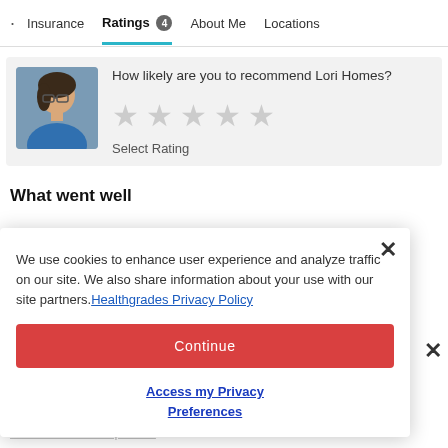· Insurance  Ratings 4  About Me  Locations
How likely are you to recommend Lori Homes?
Select Rating
What went well
We use cookies to enhance user experience and analyze traffic on our site. We also share information about your use with our site partners. Healthgrades Privacy Policy
Continue
Access my Privacy Preferences
What could be improved